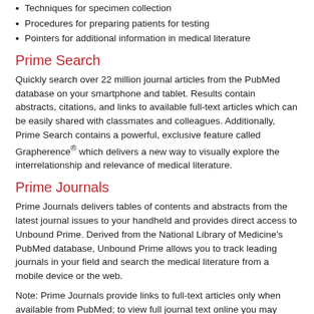Techniques for specimen collection
Procedures for preparing patients for testing
Pointers for additional information in medical literature
Prime Search
Quickly search over 22 million journal articles from the PubMed database on your smartphone and tablet. Results contain abstracts, citations, and links to available full-text articles which can be easily shared with classmates and colleagues. Additionally, Prime Search contains a powerful, exclusive feature called Grapherence® which delivers a new way to visually explore the interrelationship and relevance of medical literature.
Prime Journals
Prime Journals delivers tables of contents and abstracts from the latest journal issues to your handheld and provides direct access to Unbound Prime. Derived from the National Library of Medicine's PubMed database, Unbound Prime allows you to track leading journals in your field and search the medical literature from a mobile device or the web.
Note: Prime Journals provide links to full-text articles only when available from PubMed; to view full journal text online you may need a separate subscription.
Calculators
Integrated calculators have been added to Anesthesia Central for quick and easy calculations. Link directly from drug monographs to dosing calculators and